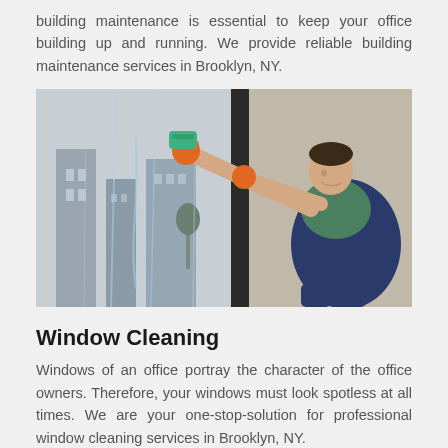building maintenance is essential to keep your office building up and running. We provide reliable building maintenance services in Brooklyn, NY.
[Figure (photo): A man wearing orange rubber gloves and a navy apron cleaning a large window with a green sponge, with water running down the glass.]
Window Cleaning
Windows of an office portray the character of the office owners. Therefore, your windows must look spotless at all times. We are your one-stop-solution for professional window cleaning services in Brooklyn, NY.